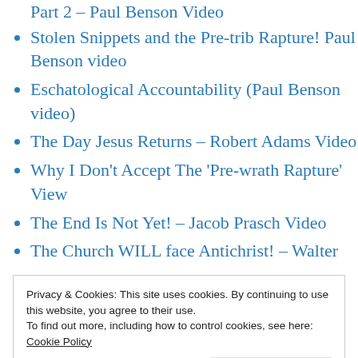Part 2 – Paul Benson Video
Stolen Snippets and the Pre-trib Rapture! Paul Benson video
Eschatological Accountability (Paul Benson video)
The Day Jesus Returns – Robert Adams Video
Why I Don't Accept The 'Pre-wrath Rapture' View
The End Is Not Yet! – Jacob Prasch Video
The Church WILL face Antichrist! – Walter
Privacy & Cookies: This site uses cookies. By continuing to use this website, you agree to their use.
To find out more, including how to control cookies, see here: Cookie Policy
The Word Of God!